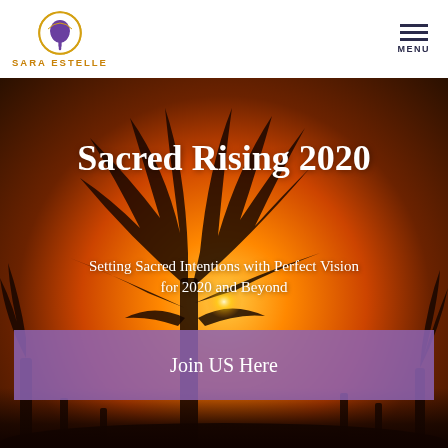[Figure (logo): Sara Estelle logo with circular golden emblem containing a tree, with text SARA ESTELLE below]
MENU
[Figure (photo): Sunset hero image with silhouetted tree branches against an orange sky with the sun visible through the branches]
Sacred Rising 2020
Setting Sacred Intentions with Perfect Vision for 2020 and Beyond
Join US Here